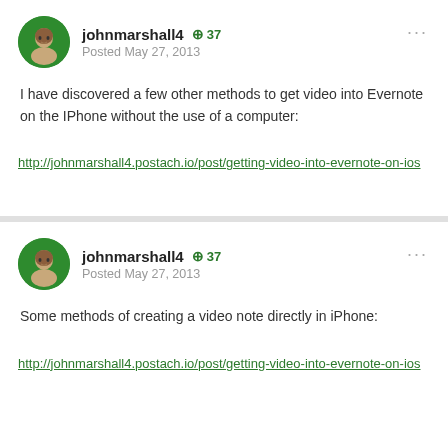johnmarshall4  +37  Posted May 27, 2013
I have discovered a few other methods to get video into Evernote on the IPhone without the use of a computer:
http://johnmarshall4.postach.io/post/getting-video-into-evernote-on-ios
johnmarshall4  +37  Posted May 27, 2013
Some methods of creating a video note directly in iPhone:
http://johnmarshall4.postach.io/post/getting-video-into-evernote-on-ios